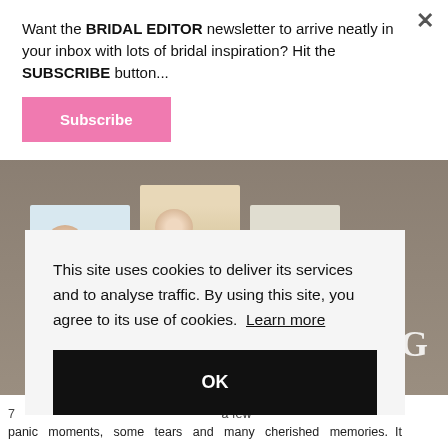Want the BRIDAL EDITOR newsletter to arrive neatly in your inbox with lots of bridal inspiration? Hit the SUBSCRIBE button...
Subscribe
[Figure (photo): Photo of bridesmaids in white/light blue dresses holding floral bouquets, standing in front of a stone wall. Partially visible letter G watermark at bottom right.]
This site uses cookies to deliver its services and to analyse traffic. By using this site, you agree to its use of cookies. Learn more
OK
a few panic moments, some tears and many cherished memories. It